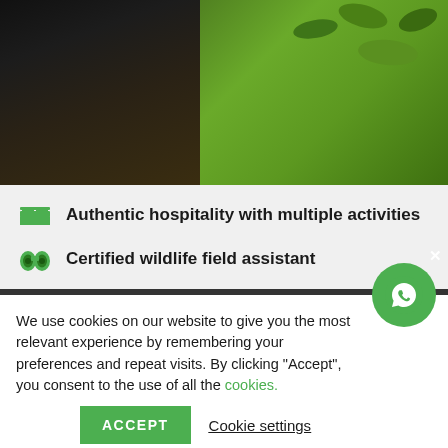[Figure (photo): Photo of a person (partially visible chin and torso in dark jacket) in front of green tea plantation/field]
Authentic hospitality with multiple activities
Certified wildlife field assistant
We use cookies on our website to give you the most relevant experience by remembering your preferences and repeat visits. By clicking “Accept”, you consent to the use of all the cookies.
ACCEPT
Cookie settings